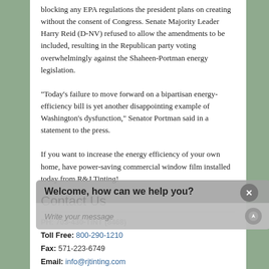blocking any EPA regulations the president plans on creating without the consent of Congress. Senate Majority Leader Harry Reid (D-NV) refused to allow the amendments to be included, resulting in the Republican party voting overwhelmingly against the Shaheen-Portman energy legislation.
"Today's failure to move forward on a bipartisan energy-efficiency bill is yet another disappointing example of Washington's dysfunction," Senator Portman said in a statement to the press.
If you want to increase the energy efficiency of your own home, have power-saving commercial window film installed today from R&J Tinting!
Contact Us
PH: 703-430-TINT (8468)
Toll Free: 800-290-1210
Fax: 571-223-6749
Email: info@rjtinting.com
Industry News
[Figure (screenshot): Chat widget overlay with 'Welcome, how can we help you?' header and message input field with send button]